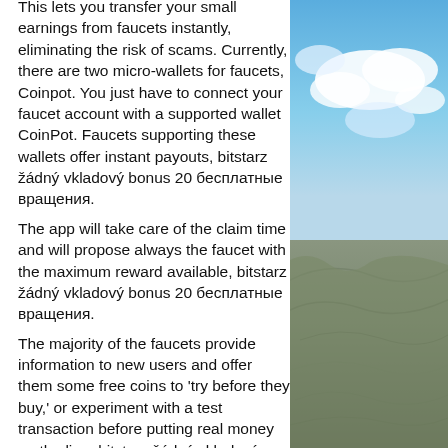This lets you transfer your small earnings from faucets instantly, eliminating the risk of scams. Currently, there are two micro-wallets for faucets, Coinpot. You just have to connect your faucet account with a supported wallet CoinPot. Faucets supporting these wallets offer instant payouts, bitstarz žádný vkladový bonus 20 бесплатные вращения. The app will take care of the claim time and will propose always the faucet with the maximum reward available, bitstarz žádný vkladový bonus 20 бесплатные вращения. The majority of the faucets provide information to new users and offer them some free coins to 'try before they buy,' or experiment with a test transaction before putting real money on the line, bitstarz žádný vkladový bonus 20 бесплатные вращения. In general, this is a beneficial way to promote digital currency and bring in new users. There are a lot of bitcoin faucet sites
[Figure (photo): Outdoor photo showing blue sky with white clouds in the upper portion and a rocky mountain or hill surface in the lower portion.]